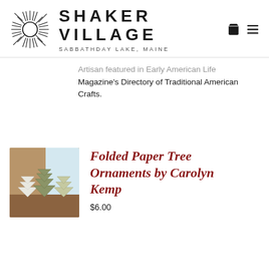[Figure (logo): Shaker Village logo with sunburst/starburst circle graphic and bold uppercase text SHAKER VILLAGE with subtitle SABBATHDAY LAKE, MAINE, plus cart and menu icons]
Artisan featured in Early American Life Magazine's Directory of Traditional American Crafts.
[Figure (photo): Photo of folded paper tree ornaments in white and olive green colors arranged on a wooden surface]
Folded Paper Tree Ornaments by Carolyn Kemp
$6.00